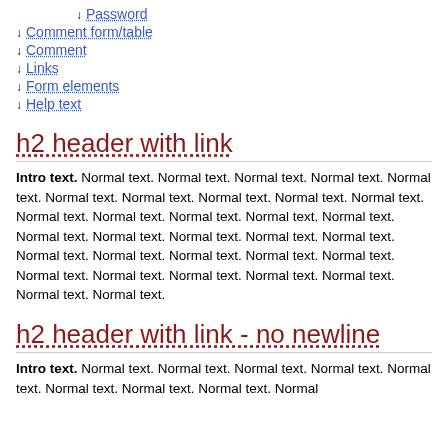↓ Password
↓ Comment form/table
↓ Comment
↓ Links
↓ Form elements
↓ Help text
h2 header with link
Intro text. Normal text. Normal text. Normal text. Normal text. Normal text. Normal text. Normal text. Normal text. Normal text. Normal text. Normal text. Normal text. Normal text. Normal text. Normal text. Normal text. Normal text. Normal text. Normal text. Normal text. Normal text. Normal text. Normal text. Normal text. Normal text. Normal text. Normal text. Normal text. Normal text. Normal text. Normal text. Normal text.
h2 header with link - no newline
Intro text. Normal text. Normal text. Normal text. Normal text. Normal text. Normal text. Normal text. Normal text. Normal